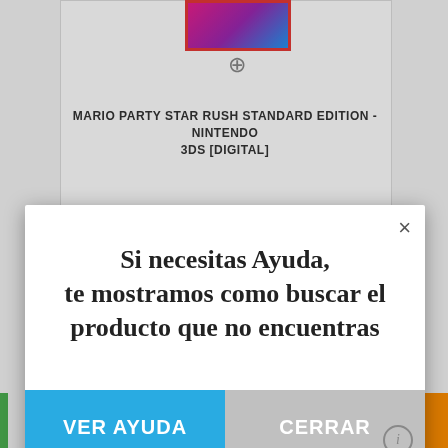[Figure (screenshot): Background webpage showing a product page for Mario Party Star Rush Standard Edition - Nintendo 3DS [Digital], with product image thumbnail and zoom icon visible behind a modal dialog.]
MARIO PARTY STAR RUSH STANDARD EDITION - NINTENDO 3DS [DIGITAL]
Si necesitas Ayuda, te mostramos como buscar el producto que no encuentras
VER AYUDA
CERRAR